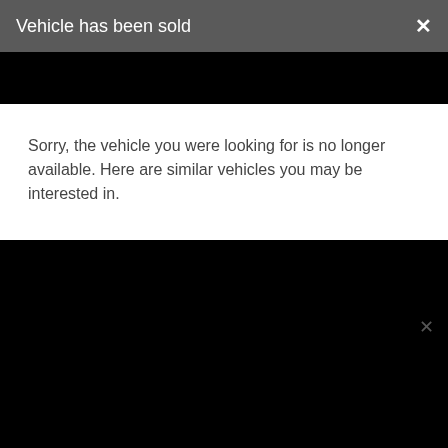Vehicle has been sold
Sorry, the vehicle you were looking for is no longer available. Here are similar vehicles you may be interested in.
Come test drive the all electric BMW i4. Click here to schedule your test drive.